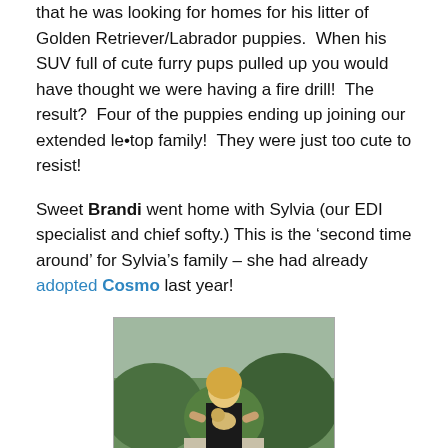that he was looking for homes for his litter of Golden Retriever/Labrador puppies.  When his SUV full of cute furry pups pulled up you would have thought we were having a fire drill!  The result?  Four of the puppies ending up joining our extended le•top family!  They were just too cute to resist!
Sweet Brandi went home with Sylvia (our EDI specialist and chief softy.) This is the 'second time around' for Sylvia's family – she had already adopted Cosmo last year!
[Figure (photo): A woman with blonde hair kneeling outdoors on a walkway, holding a small puppy, with green bushes and trees in the background.]
Tiffany and Zane